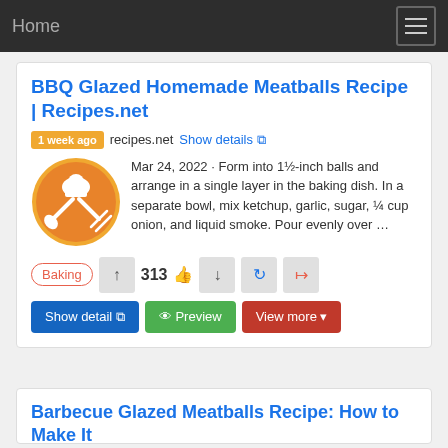Home
BBQ Glazed Homemade Meatballs Recipe | Recipes.net
1 week ago  recipes.net  Show details
Mar 24, 2022 · Form into 1½-inch balls and arrange in a single layer in the baking dish. In a separate bowl, mix ketchup, garlic, sugar, ¼ cup onion, and liquid smoke. Pour evenly over …
Baking  313  Show detail  Preview  View more
Barbecue Glazed Meatballs Recipe: How to Make It